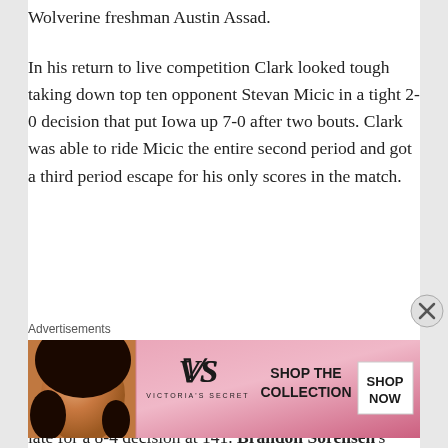Wolverine freshman Austin Assad.
In his return to live competition Clark looked tough taking down top ten opponent Stevan Micic in a tight 2-0 decision that put Iowa up 7-0 after two bouts. Clark was able to ride Micic the entire second period and got a third period escape for his only scores in the match.
After surrendering the first takedown of the match, Topher Carton was able to fight back and pour it on late for a 8-4 decision at 141. Brandon Sorensen's match was never in doubt at 149 as he won with a 10-1 major
Advertisements
[Figure (other): Victoria's Secret advertisement banner with model, VS logo, 'SHOP THE COLLECTION' text, and 'SHOP NOW' button]